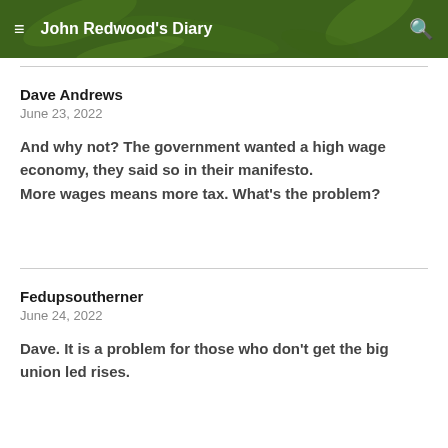John Redwood's Diary
Dave Andrews
June 23, 2022
And why not? The government wanted a high wage economy, they said so in their manifesto.
More wages means more tax. What’s the problem?
Fedupsoutherner
June 24, 2022
Dave. It is a problem for those who don’t get the big union led rises.